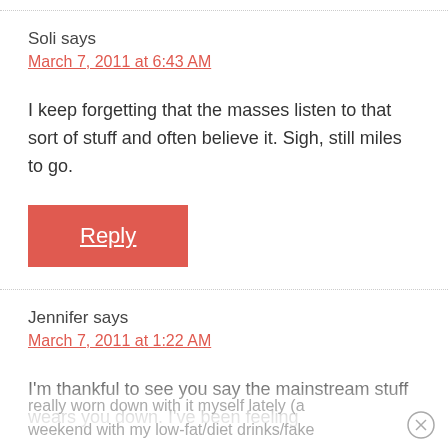Soli says
March 7, 2011 at 6:43 AM
I keep forgetting that the masses listen to that sort of stuff and often believe it. Sigh, still miles to go.
Reply
Jennifer says
March 7, 2011 at 1:22 AM
I'm thankful to see you say the mainstream stuff wears you down. I've been feeling really worn down with it myself lately (a weekend with my low-fat/diet drinks/fake